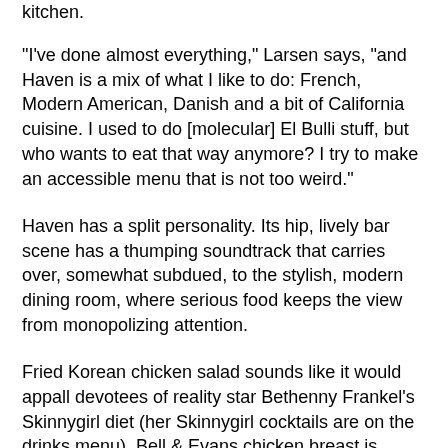kitchen.
“I’ve done almost everything,” Larsen says, “and Haven is a mix of what I like to do: French, Modern American, Danish and a bit of California cuisine. I used to do [molecular] El Bulli stuff, but who wants to eat that way anymore? I try to make an accessible menu that is not too weird.”
Haven has a split personality. Its hip, lively bar scene has a thumping soundtrack that carries over, somewhat subdued, to the stylish, modern dining room, where serious food keeps the view from monopolizing attention.
Fried Korean chicken salad sounds like it would appall devotees of reality star Bethenny Frankel’s Skinnygirl diet (her Skinnygirl cocktails are on the drinks menu). Bell & Evans chicken breast is cooked sous vide, cubed, sprinkled with cornstarch and quick fried, then tossed in Korean fermented chili paste gentled with mirin and soy sauce. Sprinkled with sesame seeds, it’s served with bean